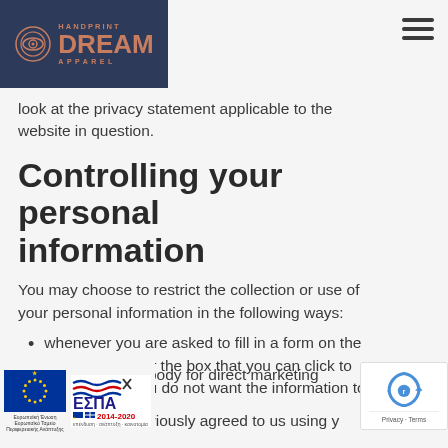[Figure (logo): Handprint Dream Apparel logo — dark navy blue rectangle with eye/circle icon and text 'HANDPRINT DREAM APPAREL' in salmon/copper color]
look at the privacy statement applicable to the website in question.
Controlling your personal information
You may choose to restrict the collection or use of your personal information in the following ways:
whenever you are asked to fill in a form on the website, look for the box that you can click to indicate that you do not want the information to
body for direct marketing
viously agreed to us using y
[Figure (logo): European Union / ESPA 2014-2020 logos at bottom left]
[Figure (logo): Google reCAPTCHA badge at bottom right]